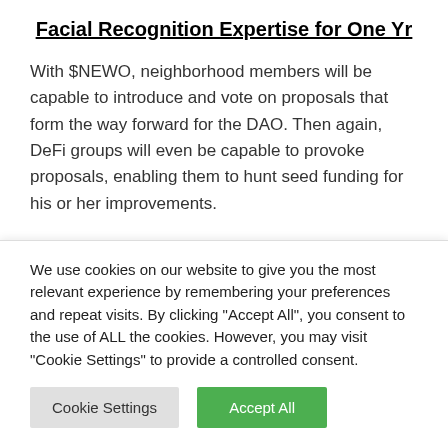Facial Recognition Expertise for One Yr
With $NEWO, neighborhood members will be capable to introduce and vote on proposals that form the way forward for the DAO. Then again, DeFi groups will even be capable to provoke proposals, enabling them to hunt seed funding for his or her improvements.
Coming right down to the proposal course of, New Order DAO has made it fairly seamless for all
We use cookies on our website to give you the most relevant experience by remembering your preferences and repeat visits. By clicking "Accept All", you consent to the use of ALL the cookies. However, you may visit "Cookie Settings" to provide a controlled consent.